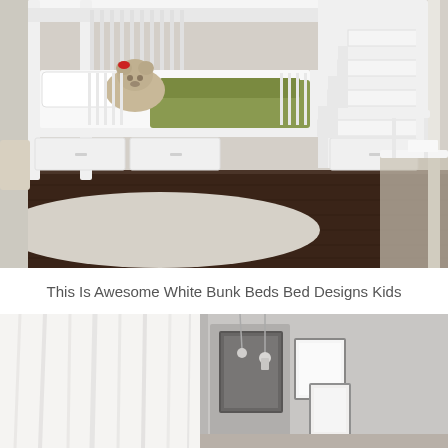[Figure (photo): White bunk bed with staircase and storage drawers in a children's bedroom. A stuffed dog/bear toy rests on the lower bunk with a green blanket. Dark hardwood floors, cream/white rug, and white furniture including a chair and table visible on the right side.]
This Is Awesome White Bunk Beds Bed Designs Kids
[Figure (photo): Interior room scene with white sheer curtains on the left and gray-framed artwork/pictures arranged on a light gray wall on the right. Minimalist modern style.]